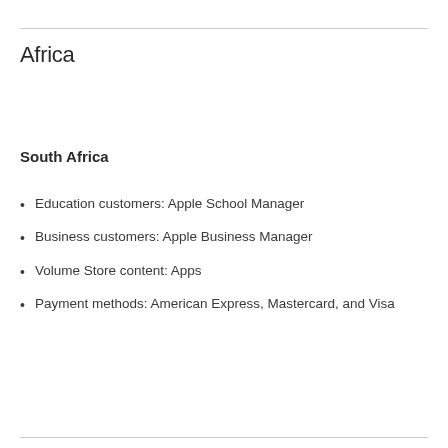Africa
South Africa
Education customers: Apple School Manager
Business customers: Apple Business Manager
Volume Store content: Apps
Payment methods: American Express, Mastercard, and Visa